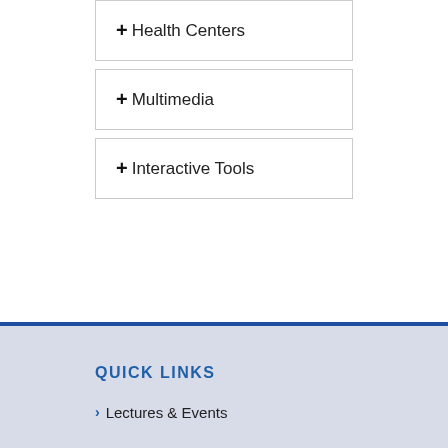+ Health Centers
+ Multimedia
+ Interactive Tools
QUICK LINKS
> Lectures & Events